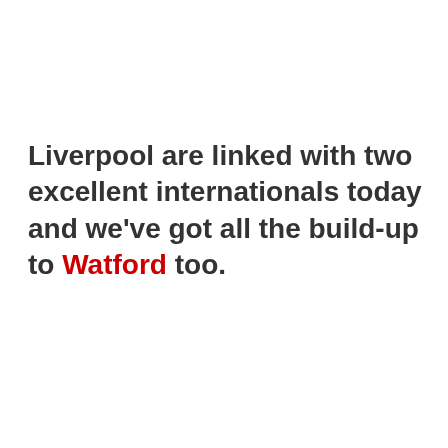Liverpool are linked with two excellent internationals today and we've got all the build-up to Watford too.